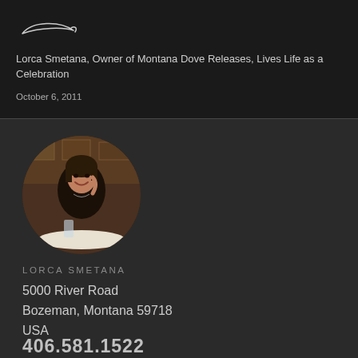[Figure (logo): Curved line/fish-eye logo mark in white on dark background]
Lorca Smetana, Owner of Montana Dove Releases, Lives Life as a Celebration
October 6, 2011
[Figure (photo): Circular portrait photo of Lorca Smetana smiling at a restaurant table]
LORCA SMETANA
5000 River Road
Bozeman, Montana 59718
USA
406.581.1522